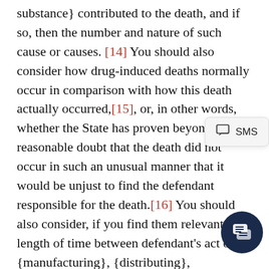{ingestion}, {inhalation} or the {insert appropriate substance} contributed to the death, and if so, then the number and nature of such cause or causes. [14] You should also consider how drug-induced deaths normally occur in comparison with how this death actually occurred,[15], or, in other words, whether the State has proven beyond a reasonable doubt that the death did not occur in such an unusual manner that it would be unjust to find the defendant responsible for the death.[16] You should also consider, if you find them relevant, the length of time between defendant's act of {manufacturing}, {distributing}, {dispensing} the {insert appropriate substance} and the place of {insert name of decedent}'s death.

The fact that {insert alleged victim's name}